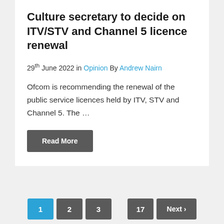Culture secretary to decide on ITV/STV and Channel 5 licence renewal
29th June 2022 in Opinion By Andrew Nairn
Ofcom is recommending the renewal of the public service licences held by ITV, STV and Channel 5. The …
Read More
1  2  3  17  Next >